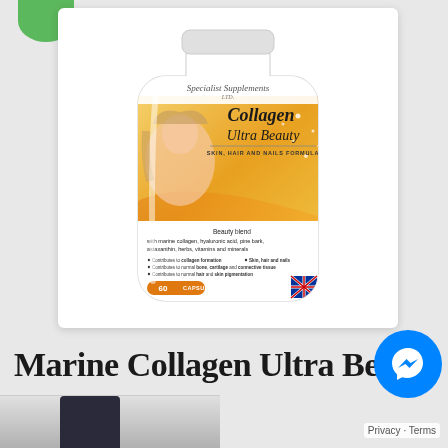[Figure (photo): Product photo of 'Collagen Ultra Beauty' supplement bottle by Specialist Supplements Ltd. White bottle with gold/orange label showing a woman's face, text: Beauty blend with marine collagen, hyaluronic acid, pine bark, astaxanthin, herbs, vitamins and minerals. 60 CAPSULES. British Company logo. Bullet points about collagen formation, skin hair nails, bone cartilage connective tissue, hair and skin pigmentation.]
Marine Collagen Ultra Beauty
[Figure (photo): Partial bottom image showing what appears to be a dark cylindrical product, cropped at bottom of page.]